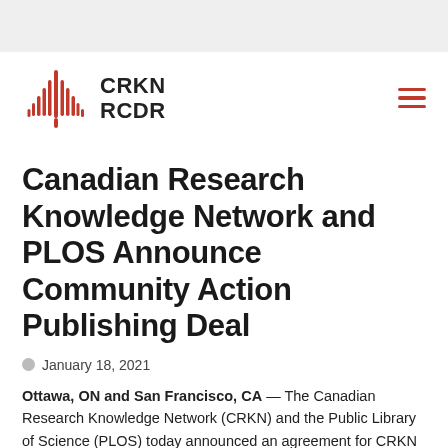[Figure (logo): CRKN RCDR logo with red maple leaf / sound wave graphic and bold text 'CRKN RCDR']
Canadian Research Knowledge Network and PLOS Announce Community Action Publishing Deal
January 18, 2021
Ottawa, ON and San Francisco, CA — The Canadian Research Knowledge Network (CRKN) and the Public Library of Science (PLOS) today announced an agreement for CRKN members to